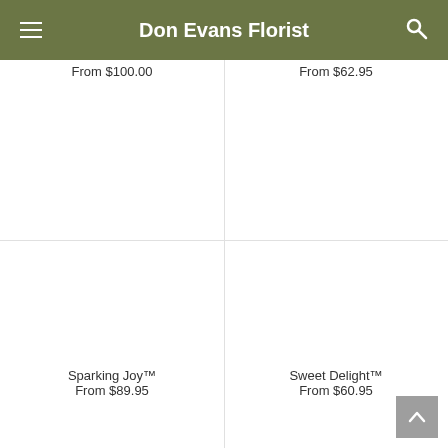Don Evans Florist
From $100.00
From $62.95
Sparking Joy™
From $89.95
Sweet Delight™
From $60.95